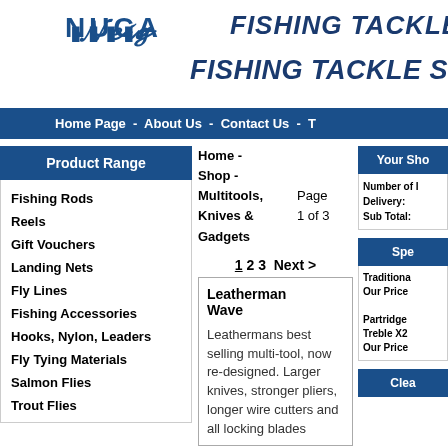NUED - FISHING TACKLE SPECIALISTS
Home Page - About Us - Contact Us - T
Product Range
Fishing Rods
Reels
Gift Vouchers
Landing Nets
Fly Lines
Fishing Accessories
Hooks, Nylon, Leaders
Fly Tying Materials
Salmon Flies
Trout Flies
Home - Shop - Multitools, Knives & Gadgets
Page 1 of 3
1 2 3 Next >
Leatherman Wave

Leathermans best selling multi-tool, now re-designed. Larger knives, stronger pliers, longer wire cutters and all locking blades
Your Shop
Number of I
Delivery:
Sub Total:
Specials
Traditional Our Price

Partridge Treble X2 Our Price
Clearance